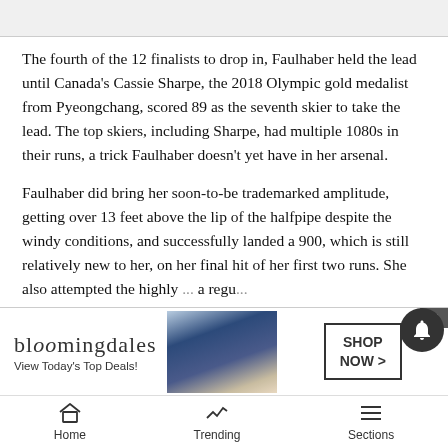The fourth of the 12 finalists to drop in, Faulhaber held the lead until Canada's Cassie Sharpe, the 2018 Olympic gold medalist from Pyeongchang, scored 89 as the seventh skier to take the lead. The top skiers, including Sharpe, had multiple 1080s in their runs, a trick Faulhaber doesn't yet have in her arsenal.
Faulhaber did bring her soon-to-be trademarked amplitude, getting over 13 feet above the lip of the halfpipe despite the windy conditions, and successfully landed a 900, which is still relatively new to her, on her final hit of her first two runs. She also attempted the highly ... a regu...
[Figure (screenshot): Bloomingdale's advertisement banner: logo text 'bloomingdales', tagline 'View Today's Top Deals!', image of woman in hat, and 'SHOP NOW >' button]
Home   Trending   Sections